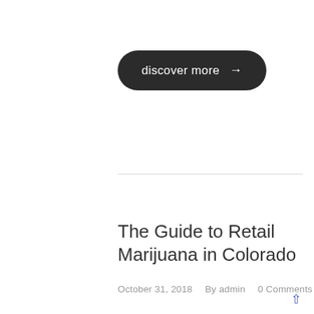[Figure (other): A dark rounded pill-shaped button with white text 'discover more' and a right arrow icon]
The Guide to Retail Marijuana in Colorado
October 31, 2018    By admin    0 Comments
As reported by 303Magazine Colorado made history this week as the first place in the world to legally sell Recreational Marijuana. A year after Amendment 64 was passed by Colorado voters, “Green Wednesday” marked the end of “Cannabis prohibition” for the state. The events were a grand success in both commerce and